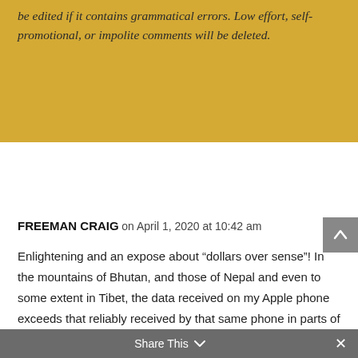be edited if it contains grammatical errors. Low effort, self-promotional, or impolite comments will be deleted.
FREEMAN CRAIG on April 1, 2020 at 10:42 am
Enlightening and an expose about “dollars over sense”! In the mountains of Bhutan, and those of Nepal and even to some extent in Tibet, the data received on my Apple phone exceeds that reliably received by that same phone in parts of Healdsburg! And when I covered 5150 miles in my auto last summer through upper mid west and
Share This